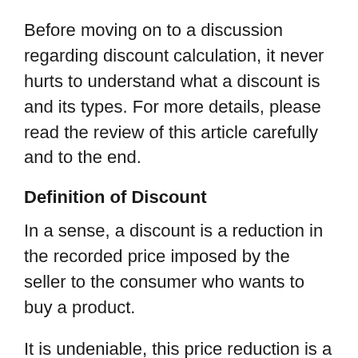Before moving on to a discussion regarding discount calculation, it never hurts to understand what a discount is and its types. For more details, please read the review of this article carefully and to the end.
Definition of Discount
In a sense, a discount is a reduction in the recorded price imposed by the seller to the consumer who wants to buy a product.
It is undeniable, this price reduction is a powerful attraction to attract consumers' buying interest in the goods and services that sellers offer. How come? Prospective consumers will be able to have goods at a